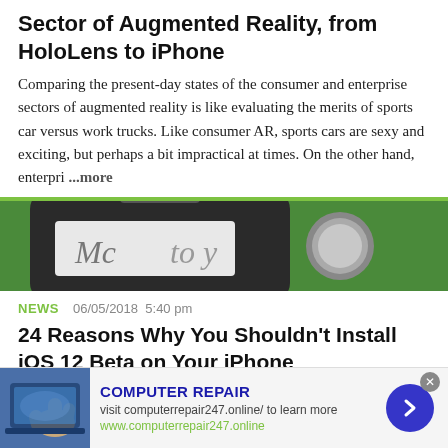Sector of Augmented Reality, from HoloLens to iPhone
Comparing the present-day states of the consumer and enterprise sectors of augmented reality is like evaluating the merits of sports car versus work trucks. Like consumer AR, sports cars are sexy and exciting, but perhaps a bit impractical at times. On the other hand, enterpri ...more
[Figure (photo): Close-up photo of an iPhone showing home button and partial text on screen, placed on green grass background]
NEWS   06/05/2018  5:40 pm
24 Reasons Why You Shouldn't Install iOS 12 Beta on Your iPhone
This year's big iPhone update, iOS 12, aims to solve many of the issues that arose during iOS 11's controversial, buggy
[Figure (photo): Advertisement banner for Computer Repair with image of hands working on laptop/computer, text: COMPUTER REPAIR, visit computerrepair247.online/ to learn more, www.computerrepair247.online]